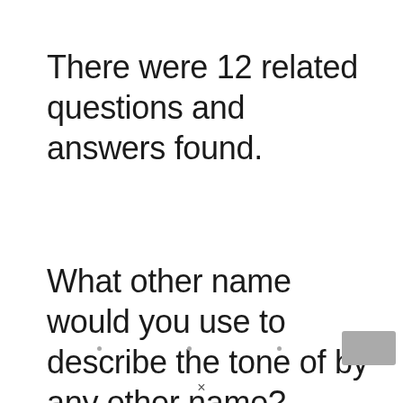There were 12 related questions and answers found.
What other name would you use to describe the tone of by any other name?